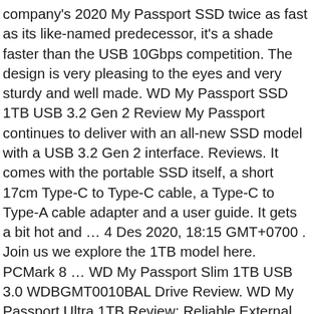company's 2020 My Passport SSD twice as fast as its like-named predecessor, it's a shade faster than the USB 10Gbps competition. The design is very pleasing to the eyes and very sturdy and well made. WD My Passport SSD 1TB USB 3.2 Gen 2 Review My Passport continues to deliver with an all-new SSD model with a USB 3.2 Gen 2 interface. Reviews. It comes with the portable SSD itself, a short 17cm Type-C to Type-C cable, a Type-C to Type-A cable adapter and a user guide. It gets a bit hot and … 4 Des 2020, 18:15 GMT+0700 . Join us we explore the 1TB model here. PCMark 8 … WD My Passport Slim 1TB USB 3.0 WDBGMT0010BAL Drive Review. WD My Passport Ultra 1TB Review: Reliable External Hard Drive With 256-bit Hardware Encryption January 23, 2017 android , hardware , wd , windows No comments WD (Western Digital) is … You can get a faster drive if you go USB Gen 2x2 (20Gbps), but you'll also pay a whole lot more. Author Dian Syarifuddin. Western Digital My Passport SSD 1TB Review – Up to 1GB/s Data Transfer with USB 3.2 Les Tokar Leave a comment Portable storage is all the rave